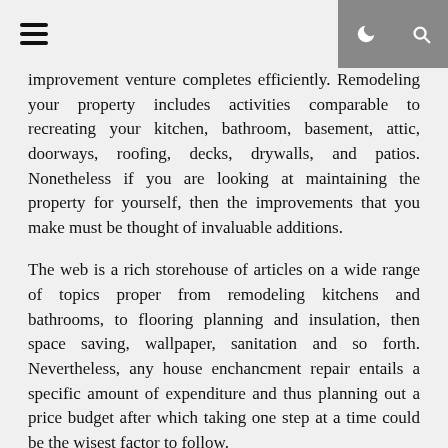☰ [hamburger menu] [moon icon] [search icon]
improvement venture completes efficiently. Remodeling your property includes activities comparable to recreating your kitchen, bathroom, basement, attic, doorways, roofing, decks, drywalls, and patios. Nonetheless if you are looking at maintaining the property for yourself, then the improvements that you make must be thought of invaluable additions.
The web is a rich storehouse of articles on a wide range of topics proper from remodeling kitchens and bathrooms, to flooring planning and insulation, then space saving, wallpaper, sanitation and so forth. Nevertheless, any house enchancment repair entails a specific amount of expenditure and thus planning out a price budget after which taking one step at a time could be the wisest factor to follow.
Residence Improvement Consultants
House improvement restore projects usually involve